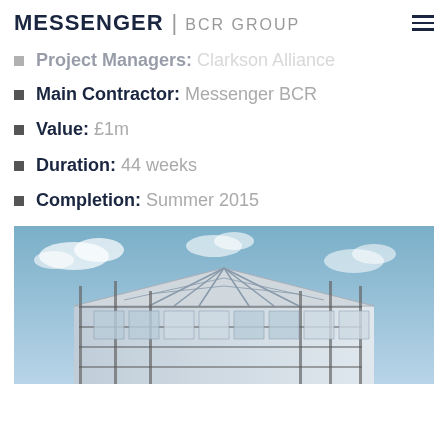MESSENGER | BCR GROUP
Project Managers: Clarkson Alliance
Main Contractor: Messenger BCR
Value: £1m
Duration: 44 weeks
Completion: Summer 2015
[Figure (photo): Construction photo showing a building under scaffolding with a partially glazed gable roof, taken against a blue sky with clouds.]